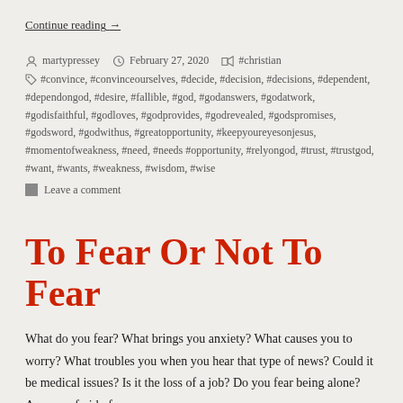Continue reading  →
martypressey  February 27, 2020  #christian
#convince, #convinceourselves, #decide, #decision, #decisions, #dependent, #dependongod, #desire, #fallible, #god, #godanswers, #godatwork, #godisfaithful, #godloves, #godprovides, #godrevealed, #godspromises, #godsword, #godwithus, #greatopportunity, #keepyoureyesonjesus, #momentofweakness, #need, #needs #opportunity, #relyongod, #trust, #trustgod, #want, #wants, #weakness, #wisdom, #wise
Leave a comment
To Fear Or Not To Fear
What do you fear? What brings you anxiety? What causes you to worry? What troubles you when you hear that type of news? Could it be medical issues? Is it the loss of a job? Do you fear being alone? Are you afraid of